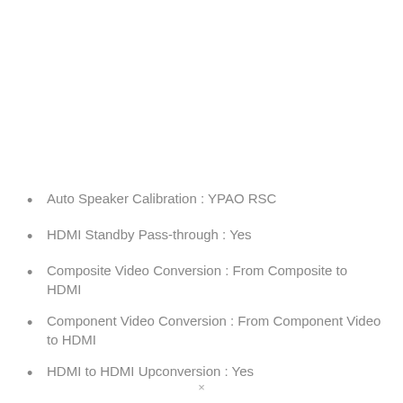Auto Speaker Calibration : YPAO RSC
HDMI Standby Pass-through : Yes
Composite Video Conversion : From Composite to HDMI
Component Video Conversion : From Component Video to HDMI
HDMI to HDMI Upconversion : Yes
...partially visible...
×